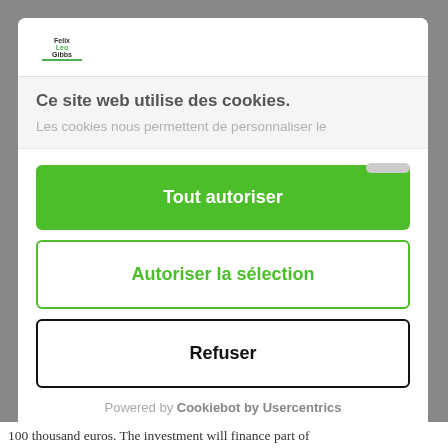[Figure (screenshot): Website cookie consent dialog from Felix Leo Gibbs website, showing logo, cookie notice title in French, and three action buttons.]
Ce site web utilise des cookies.
Les cookies nous permettent de personnaliser le
Tout autoriser
Autoriser la sélection
Refuser
Powered by Cookiebot by Usercentrics
100 thousand euros. The investment will finance part of